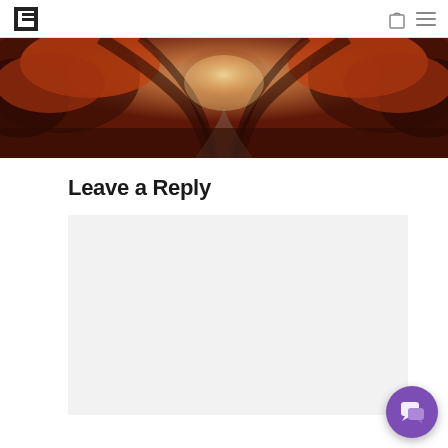Navigation header with logo and icons
[Figure (photo): Panoramic autumn forest scene with orange/red foliage forming a tunnel arch over a path]
Leave a Reply
[Figure (other): Gray comment textarea input field]
[Figure (other): Purple circular chat widget button in bottom-right corner]